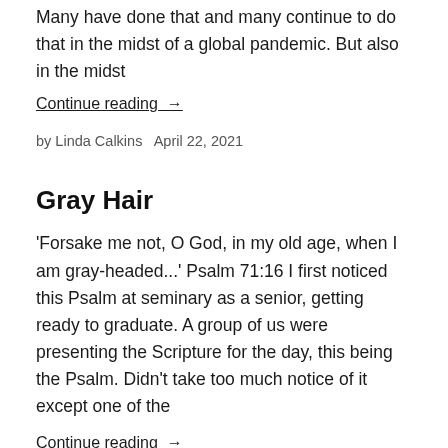Many have done that and many continue to do that in the midst of a global pandemic. But also in the midst
Continue reading →
by Linda Calkins   April 22, 2021
Gray Hair
'Forsake me not, O God, in my old age, when I am gray-headed...' Psalm 71:16 I first noticed this Psalm at seminary as a senior, getting ready to graduate. A group of us were presenting the Scripture for the day, this being the Psalm. Didn't take too much notice of it except one of the
Continue reading →